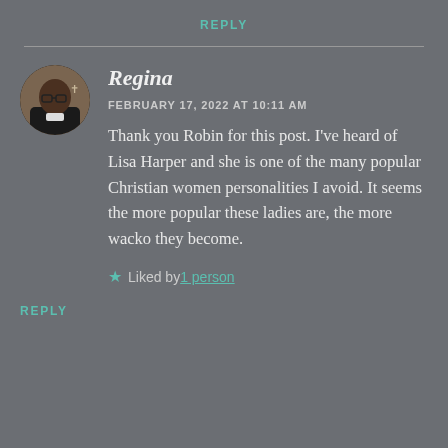REPLY
[Figure (photo): Circular avatar photo of a person (Regina) wearing glasses and dark clothing with a cross visible in the background]
Regina
FEBRUARY 17, 2022 AT 10:11 AM
Thank you Robin for this post. I've heard of Lisa Harper and she is one of the many popular Christian women personalities I avoid. It seems the more popular these ladies are, the more wacko they become.
★ Liked by 1 person
REPLY